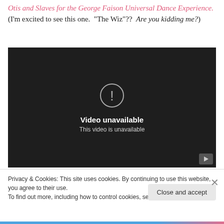Otis and Slaves for the George Faison Universal Dance Experience. (I'm excited to see this one. "The Wiz"?? Are you kidding me?)
[Figure (screenshot): Embedded video player showing 'Video unavailable — This video is unavailable' message on a dark background.]
Privacy & Cookies: This site uses cookies. By continuing to use this website, you agree to their use.
To find out more, including how to control cookies, see here: Cookie Policy